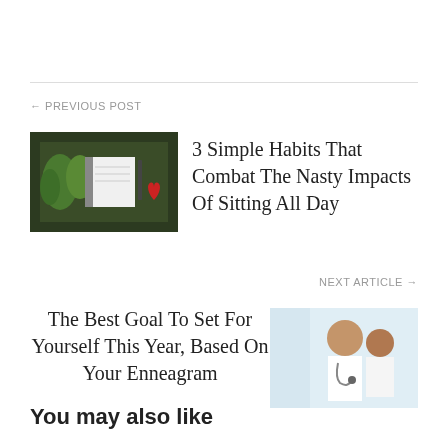← PREVIOUS POST
[Figure (photo): Food and notebook on dark background with vegetables and a red heart]
3 Simple Habits That Combat The Nasty Impacts Of Sitting All Day
NEXT ARTICLE →
The Best Goal To Set For Yourself This Year, Based On Your Enneagram
[Figure (photo): Doctor in white coat with stethoscope talking to patient]
You may also like